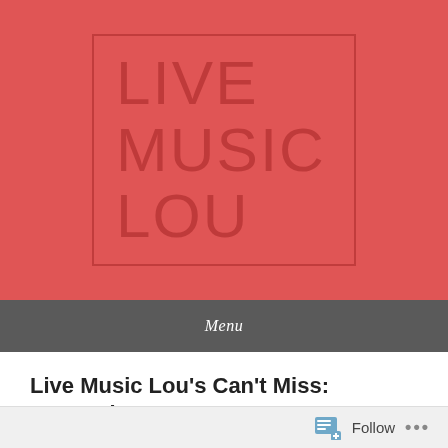[Figure (logo): Live Music Lou logo: red background with bordered box containing white/dark-red text reading LIVE MUSIC LOU in large letters]
Menu
Live Music Lou's Can't Miss: September 10 – 16
Posted on September 10, 2017 by livemusiclou
Follow ...